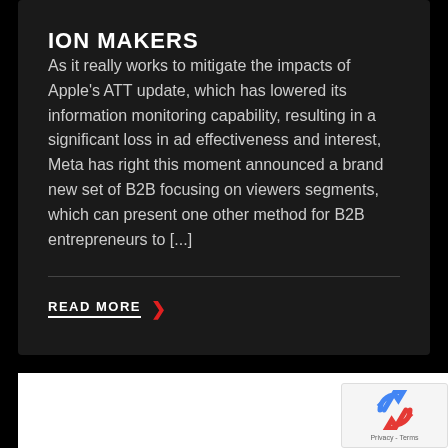ION MAKERS
As it really works to mitigate the impacts of Apple's ATT update, which has lowered its information monitoring capability, resulting in a significant loss in ad effectiveness and interest, Meta has right this moment announced a brand new set of B2B focusing on viewers segments, which can present one other method for B2B entrepreneurs to [...]
READ MORE >
[Figure (logo): reCAPTCHA badge with logo and Privacy - Terms text]